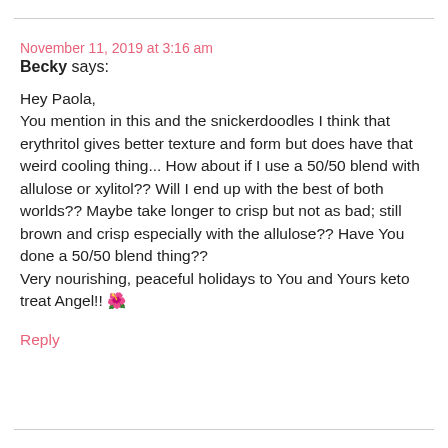November 11, 2019 at 3:16 am
Becky says:
Hey Paola,
You mention in this and the snickerdoodles I think that erythritol gives better texture and form but does have that weird cooling thing... How about if I use a 50/50 blend with allulose or xylitol?? Will I end up with the best of both worlds?? Maybe take longer to crisp but not as bad; still brown and crisp especially with the allulose?? Have You done a 50/50 blend thing??
Very nourishing, peaceful holidays to You and Yours keto treat Angel!! 🌺
Reply